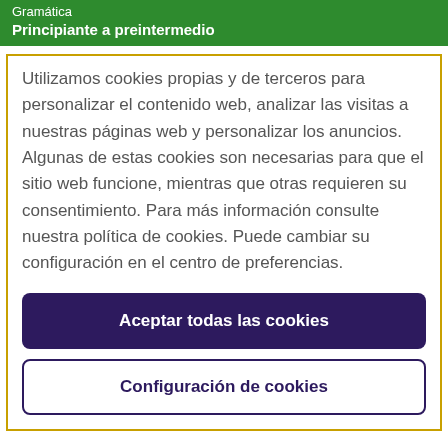Gramática
Principiante a preintermedio
Utilizamos cookies propias y de terceros para personalizar el contenido web, analizar las visitas a nuestras páginas web y personalizar los anuncios. Algunas de estas cookies son necesarias para que el sitio web funcione, mientras que otras requieren su consentimiento. Para más información consulte nuestra política de cookies. Puede cambiar su configuración en el centro de preferencias.
Aceptar todas las cookies
Configuración de cookies